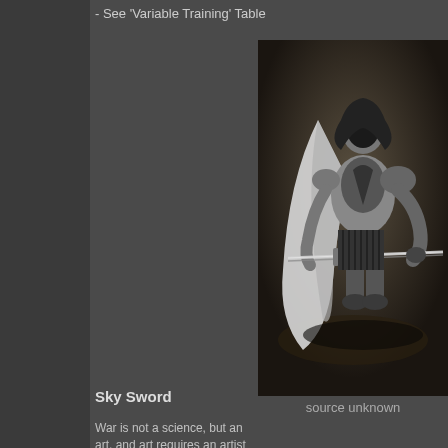- See 'Variable Training' Table
[Figure (illustration): Dark armored fantasy warrior figure holding a long sword, wearing a cape, rendered in dark grey and black tones against a dark background. Source unknown.]
source unknown
Sky Sword
War is not a science, but an art, and art requires an artist to cr